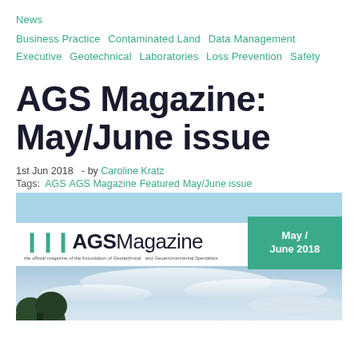News
Business Practice  Contaminated Land  Data Management
Executive  Geotechnical  Laboratories  Loss Prevention  Safety
AGS Magazine: May/June issue
1st Jun 2018   - by Caroline Kratz
Tags:   AGS   AGS Magazine   Featured   May/June issue
[Figure (illustration): AGS Magazine May/June 2018 cover featuring the AGS Magazine logo with green chevrons, a teal/green box with 'May / June 2018', a light blue top band, and a photo of a cloudy sky with a dark tree in the lower left.]